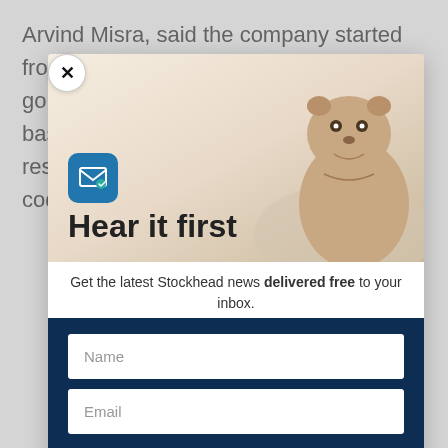Arvind Misra, said the company started from a very go... a bas... res... cod...
[Figure (screenshot): Newsletter signup modal popup with close button (X), mail icon, 'Hear it first' heading, subtitle text, groundhog background image, Name and Email input fields, and 'SIGN ME UP' button on dark navy background]
Hear it first
Get the latest Stockhead news delivered free to your inbox.
Name
Email
SIGN ME UP